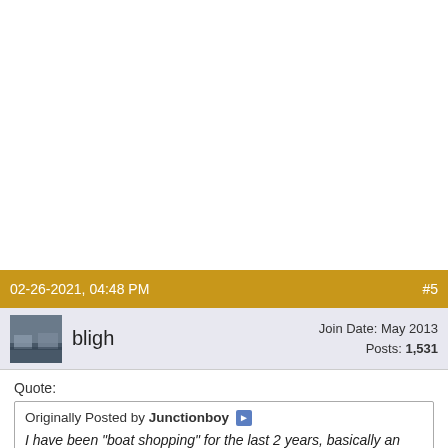02-26-2021, 04:48 PM   #5
bligh   Join Date: May 2013   Posts: 1,531
Quote:
Originally Posted by Junctionboy
I have been "boat shopping" for the last 2 years, basically an online search and research project – subscribing to YouTube channels etc. Orignally I saw sailors going to the Marquesas on catamarans and thought "man thats what I want to do." So the wife and I went to the Miami boat show and looked a